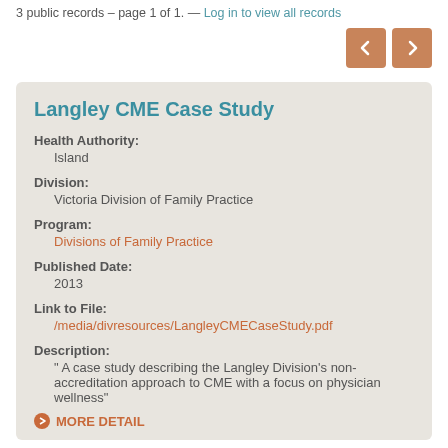3 public records – page 1 of 1. — Log in to view all records
Langley CME Case Study
Health Authority:
Island
Division:
Victoria Division of Family Practice
Program:
Divisions of Family Practice
Published Date:
2013
Link to File:
/media/divresources/LangleyCMECaseStudy.pdf
Description:
" A case study describing the Langley Division's non-accreditation approach to CME with a focus on physician wellness"
MORE DETAIL